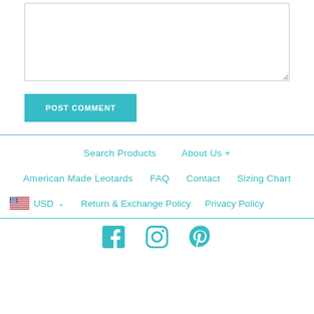[Comment textarea]
POST COMMENT
Search Products
About Us +
American Made Leotards
FAQ
Contact
Sizing Chart
USD
Return & Exchange Policy
Privacy Policy
[Figure (other): Social media icons: Facebook, Instagram, Pinterest]